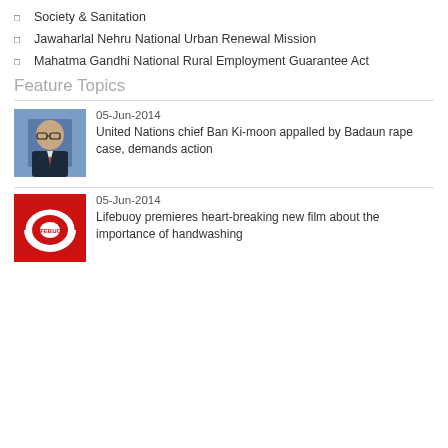Society & Sanitation
Jawaharlal Nehru National Urban Renewal Mission
Mahatma Gandhi National Rural Employment Guarantee Act
Feature Topics
[Figure (photo): Photo of UN Secretary-General Ban Ki-moon speaking at a podium]
05-Jun-2014
United Nations chief Ban Ki-moon appalled by Badaun rape case, demands action
[Figure (logo): Lifebuoy red logo on red background]
05-Jun-2014
Lifebuoy premieres heart-breaking new film about the importance of handwashing